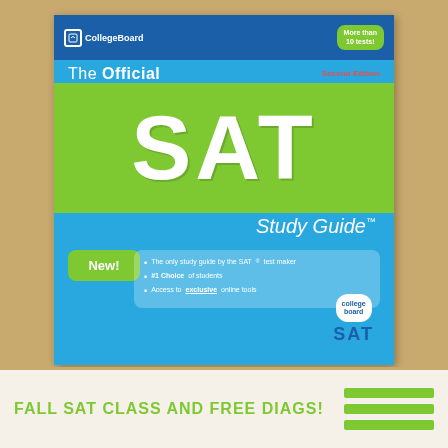[Figure (photo): Book cover of 'The Official SAT Study Guide, Second Edition' by CollegeBoard. Features a blue and green design with large white SAT letters on a green background. Includes 'New!' badge and bullet points: 'The only study guide by the SAT test maker', '#1 Choice of students', 'Access to exclusive online tools'. CollegeBoard logo at top left, 'More than 10 tests!' badge at top right, SAT logo at bottom right.]
FALL SAT CLASS AND FREE DIAGS!